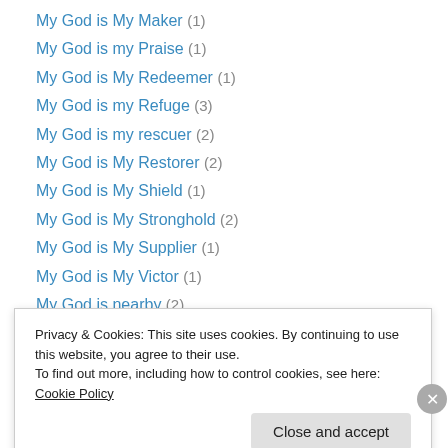My God is My Maker (1)
My God is my Praise (1)
My God is My Redeemer (1)
My God is my Refuge (3)
My God is my rescuer (2)
My God is My Restorer (2)
My God is My Shield (1)
My God is My Stronghold (2)
My God is My Supplier (1)
My God is My Victor (1)
My God is nearby (2)
My God is not ashamed (1)
My God is not despising a broken heart (1)
Privacy & Cookies: This site uses cookies. By continuing to use this website, you agree to their use. To find out more, including how to control cookies, see here: Cookie Policy